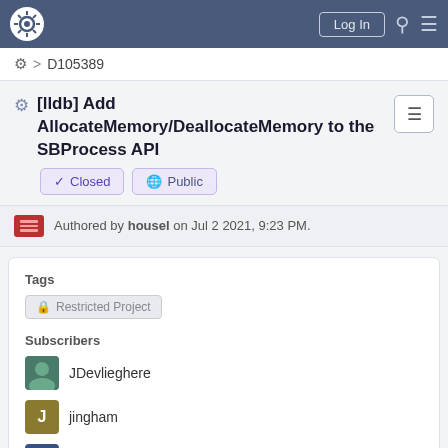Log In
⚙ > D105389
[lldb] Add AllocateMemory/DeallocateMemory to the SBProcess API
✓ Closed   🌐 Public
Authored by housel on Jul 2 2021, 9:23 PM.
Tags
🔒 Restricted Project
Subscribers
JDevlieghere
jingham
lldb-commits